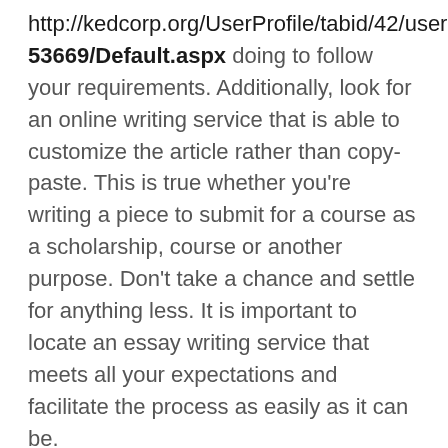http://kedcorp.org/UserProfile/tabid/42/userId/53669/Default.aspx doing to follow your requirements. Additionally, look for an online writing service that is able to customize the article rather than copy-paste. This is true whether you're writing a piece to submit for a course as a scholarship, course or another purpose. Don't take a chance and settle for anything less. It is important to locate an essay writing service that meets all your expectations and facilitate the process as easily as it can be.
Once you've inspected the standard of their service You should also look into their guarantees. Most essay writing service providers offer assurances to their clients. In case you are unhappy with their service and you are not satisfied, you will get the money...